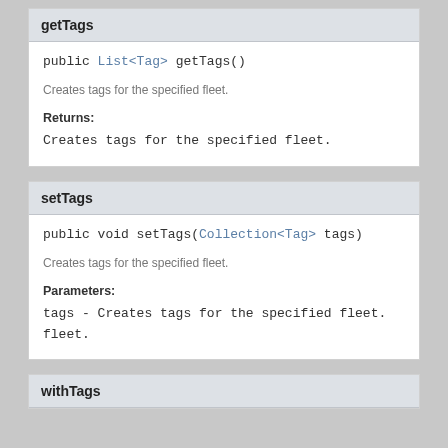getTags
Creates tags for the specified fleet.
Returns:
Creates tags for the specified fleet.
setTags
Creates tags for the specified fleet.
Parameters:
tags - Creates tags for the specified fleet.
withTags